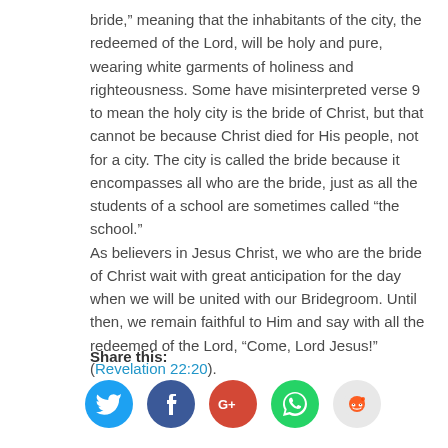bride,” meaning that the inhabitants of the city, the redeemed of the Lord, will be holy and pure, wearing white garments of holiness and righteousness. Some have misinterpreted verse 9 to mean the holy city is the bride of Christ, but that cannot be because Christ died for His people, not for a city. The city is called the bride because it encompasses all who are the bride, just as all the students of a school are sometimes called “the school.” As believers in Jesus Christ, we who are the bride of Christ wait with great anticipation for the day when we will be united with our Bridegroom. Until then, we remain faithful to Him and say with all the redeemed of the Lord, “Come, Lord Jesus!” (Revelation 22:20).
Share this:
[Figure (other): Social sharing icons: Twitter (blue circle), Facebook (dark blue circle), Google+ (red circle), WhatsApp (green circle), Reddit (light grey circle)]